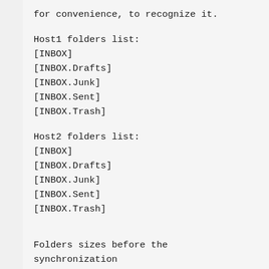for convenience, to recognize it.
Host1 folders list:
[INBOX]
[INBOX.Drafts]
[INBOX.Junk]
[INBOX.Sent]
[INBOX.Trash]
Host2 folders list:
[INBOX]
[INBOX.Drafts]
[INBOX.Junk]
[INBOX.Sent]
[INBOX.Trash]
Folders sizes before the
synchronization